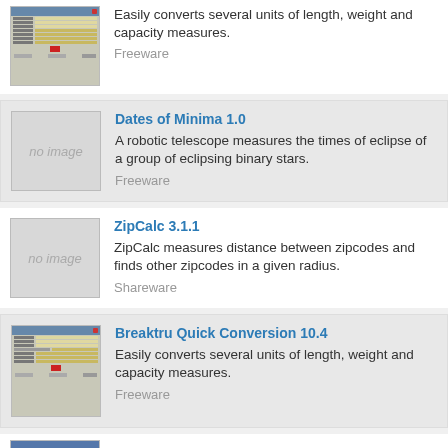[Figure (screenshot): Software screenshot thumbnail of a conversion utility application]
Easily converts several units of length, weight and capacity measures.
Freeware
[Figure (other): No image placeholder]
Dates of Minima 1.0
A robotic telescope measures the times of eclipse of a group of eclipsing binary stars.
Freeware
[Figure (other): No image placeholder]
ZipCalc 3.1.1
ZipCalc measures distance between zipcodes and finds other zipcodes in a given radius.
Shareware
[Figure (screenshot): Software screenshot thumbnail of Breaktru Quick Conversion application]
Breaktru Quick Conversion 10.4
Easily converts several units of length, weight and capacity measures.
Freeware